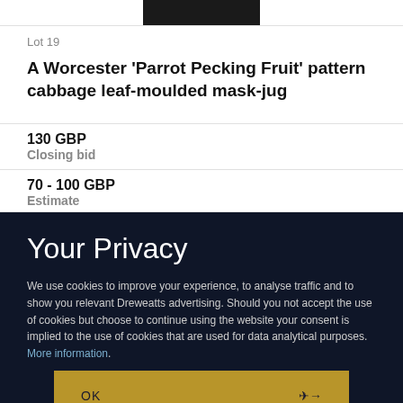[Figure (other): Black image bar at top of auction listing]
Lot 19
A Worcester 'Parrot Pecking Fruit' pattern cabbage leaf-moulded mask-jug
130 GBP
Closing bid
70 - 100 GBP
Estimate
Your Privacy
We use cookies to improve your experience, to analyse traffic and to show you relevant Dreweatts advertising. Should you not accept the use of cookies but choose to continue using the website your consent is implied to the use of cookies that are used for data analytical purposes. More information.
OK